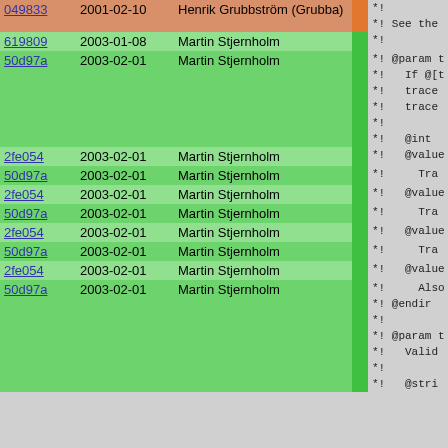| hash | date | author | bar | code |
| --- | --- | --- | --- | --- |
| 049833 | 2001-02-10 | Henrik Grubbström (Grubba) |  | *!
*! See the |
| 619809 | 2003-01-08 | Martin Stjernholm |  | *! |
| 50d97a | 2003-02-01 | Martin Stjernholm |  | *! @param t
*!   If @[t
*!   trace
*!   trace
*!
*!   @int |
| 2fe054 | 2003-02-01 | Martin Stjernholm |  | *!   @value |
| 50d97a | 2003-02-01 | Martin Stjernholm |  | *!     Tra |
| 2fe054 | 2003-02-01 | Martin Stjernholm |  | *!   @value |
| 50d97a | 2003-02-01 | Martin Stjernholm |  | *!     Tra |
| 2fe054 | 2003-02-01 | Martin Stjernholm |  | *!   @value |
| 50d97a | 2003-02-01 | Martin Stjernholm |  | *!     Tra |
| 2fe054 | 2003-02-01 | Martin Stjernholm |  | *!   @value |
| 50d97a | 2003-02-01 | Martin Stjernholm |  | *!     Also
*! @endir
*!
*! @param t
*!   Valid
*!
*!   @stri |